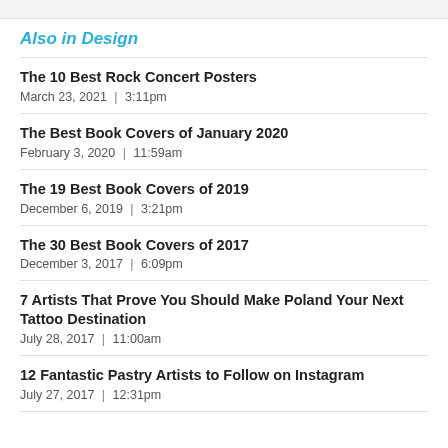Also in Design
The 10 Best Rock Concert Posters
March 23, 2021  |  3:11pm
The Best Book Covers of January 2020
February 3, 2020  |  11:59am
The 19 Best Book Covers of 2019
December 6, 2019  |  3:21pm
The 30 Best Book Covers of 2017
December 3, 2017  |  6:09pm
7 Artists That Prove You Should Make Poland Your Next Tattoo Destination
July 28, 2017  |  11:00am
12 Fantastic Pastry Artists to Follow on Instagram
July 27, 2017  |  12:31pm